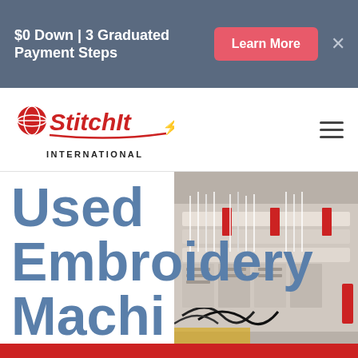$0 Down | 3 Graduated Payment Steps
[Figure (logo): Stitch It International logo with globe icon and red script text]
Used Embroidery Machines
[Figure (photo): Industrial embroidery machines with white and colored threads and components in a factory setting]